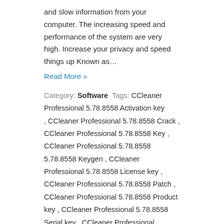and slow information from your computer. The increasing speed and performance of the system are very high. Increase your privacy and speed things up Known as…
Read More »
Category: Software Tags: CCleaner Professional 5.78.8558 Activation key, CCleaner Professional 5.78.8558 Crack, CCleaner Professional 5.78.8558 Key, CCleaner Professional 5.78.8558 Keygen, CCleaner Professional 5.78.8558 License key, CCleaner Professional 5.78.8558 Patch, CCleaner Professional 5.78.8558 Product key, CCleaner Professional 5.78.8558 Serial key, CCleaner Professional 5.78.8558 Serial Number
Scrivener 3.0.0.0 Crack + License Key [Latest Version] Full Download